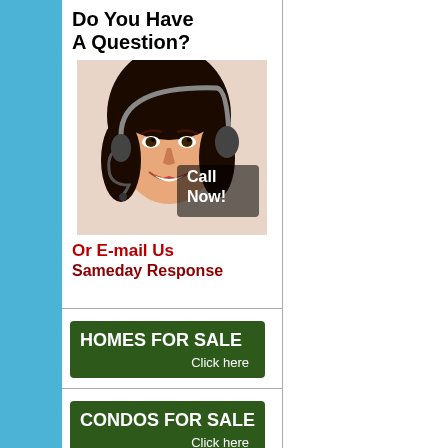[Figure (illustration): Advertisement banner: 'Do You Have A Question?' with a woman wearing a headset and 'Call Now!' text overlay, followed by 'Or E-mail Us Sameday Response']
[Figure (illustration): Green button banner reading 'HOMES FOR SALE' with 'Click here' subtext]
[Figure (illustration): Green button banner reading 'CONDOS FOR SALE' with 'Click here' subtext]